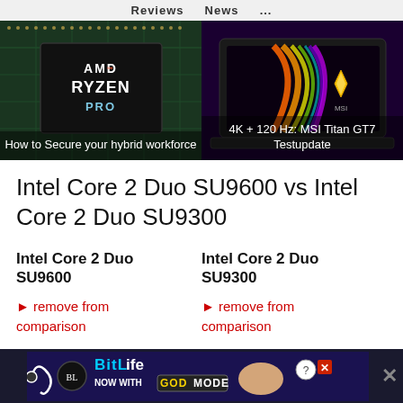Reviews   News   ...
[Figure (photo): AMD Ryzen Pro processor chip close-up with caption 'How to Secure your hybrid workforce']
[Figure (photo): MSI Titan GT7 laptop with colorful LED display and caption '4K + 120 Hz: MSI Titan GT7 Testupdate']
Intel Core 2 Duo SU9600 vs Intel Core 2 Duo SU9300
Intel Core 2 Duo SU9600
Intel Core 2 Duo SU9300
► remove from comparison
► remove from comparison
[Figure (screenshot): BitLife advertisement banner: NOW WITH GOD MODE]